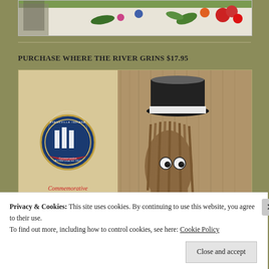[Figure (illustration): Top portion of a book cover or decorative image showing colorful flowers and foliage against a light background]
PURCHASE WHERE THE RIVER GRINS $17.95
[Figure (illustration): Book cover for 'Where the River Grins' showing a cartoon character wearing a top hat with an Evansville Indiana commemorative seal/medallion on the left side]
Privacy & Cookies: This site uses cookies. By continuing to use this website, you agree to their use.
To find out more, including how to control cookies, see here: Cookie Policy
Close and accept